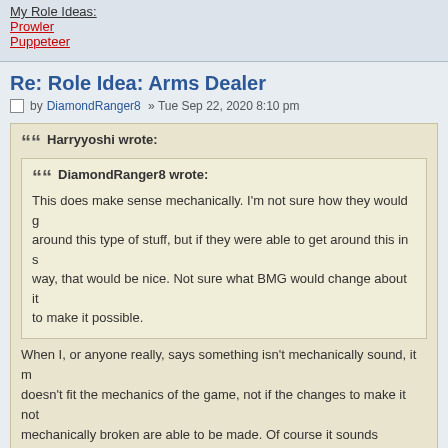My Role Ideas:
Prowler
Puppeteer
Re: Role Idea: Arms Dealer
by DiamondRanger8 » Tue Sep 22, 2020 8:10 pm
Harryyoshi wrote: DiamondRanger8 wrote: This does make sense mechanically. I'm not sure how they would get around this type of stuff, but if they were able to get around this in some way, that would be nice. Not sure what BMG would change about it to make it possible.
When I, or anyone really, says something isn't mechanically sound, it means it doesn't fit the mechanics of the game, not if the changes to make it not mechanically broken are able to be made. Of course it sounds mechanically sound, but what will happen in the actual game? This is your role, you get to choose the interactions.
Hmm I think your right. I'll try and think of a change to make it fit mechani…